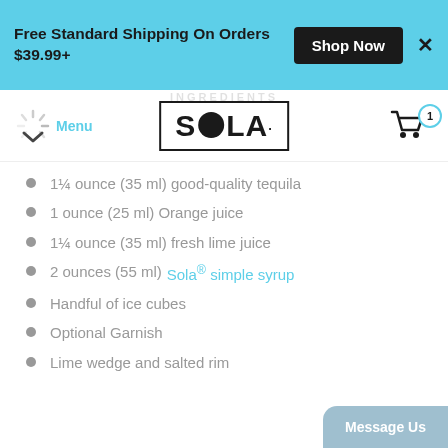Free Standard Shipping On Orders $39.99+
[Figure (screenshot): Sola brand logo inside a rectangular border, with a speech bubble replacing the letter O]
Menu
1¼ ounce (35 ml) good-quality tequila
1 ounce (25 ml) Orange juice
1¼ ounce (35 ml) fresh lime juice
2 ounces (55 ml) Sola® simple syrup
Handful of ice cubes
Optional Garnish
Lime wedge and salted rim